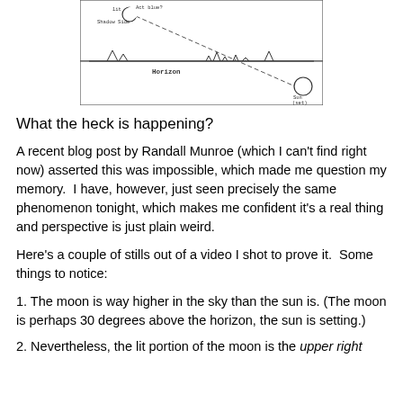[Figure (illustration): Hand-drawn diagram showing the moon higher in the sky, a dashed line from the moon down to the sun near the horizon. The horizon line is labeled 'Horizon' with small mountain/tree silhouettes. Sun is drawn as a circle in the lower right labeled 'Sun (set)'. Labels near the moon include 'Shadow Side' and 'Act blue?'.]
What the heck is happening?
A recent blog post by Randall Munroe (which I can't find right now) asserted this was impossible, which made me question my memory.  I have, however, just seen precisely the same phenomenon tonight, which makes me confident it's a real thing and perspective is just plain weird.
Here's a couple of stills out of a video I shot to prove it.  Some things to notice:
1. The moon is way higher in the sky than the sun is. (The moon is perhaps 30 degrees above the horizon, the sun is setting.)
2. Nevertheless, the lit portion of the moon is the upper right